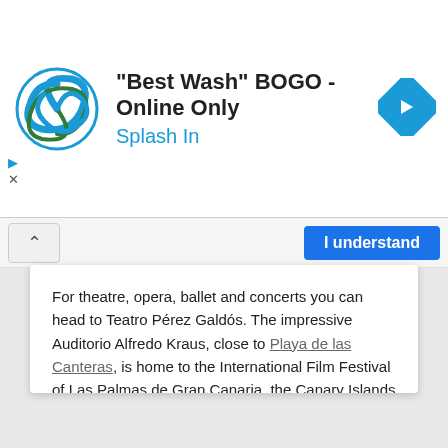[Figure (screenshot): Ad banner for 'Best Wash' BOGO Online Only promotion by Splash In, with a swirling logo and navigation arrow icon]
[Figure (screenshot): Cookie consent bar with up-arrow button and 'I understand' button]
For theatre, opera, ballet and concerts you can head to Teatro Pérez Galdós. The impressive Auditorio Alfredo Kraus, close to Playa de las Canteras, is home to the International Film Festival of Las Palmas de Gran Canaria, the Canary Islands Music Festival and the Philharmonic Orchestra of Gran Canaria.
All hotel receptions will be able to give you in-depth information and programmes of forthcoming events during your stay so that you can make the most of your visit to this beautiful location.